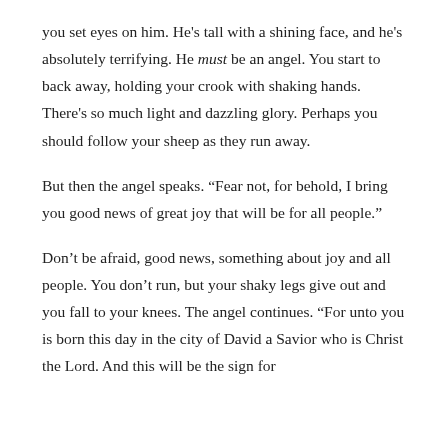you set eyes on him. He's tall with a shining face, and he's absolutely terrifying. He must be an angel. You start to back away, holding your crook with shaking hands. There's so much light and dazzling glory. Perhaps you should follow your sheep as they run away.
But then the angel speaks. “Fear not, for behold, I bring you good news of great joy that will be for all people.”
Don’t be afraid, good news, something about joy and all people. You don’t run, but your shaky legs give out and you fall to your knees. The angel continues. “For unto you is born this day in the city of David a Savior who is Christ the Lord. And this will be the sign for you: you will find a baby wrapped in swaddling